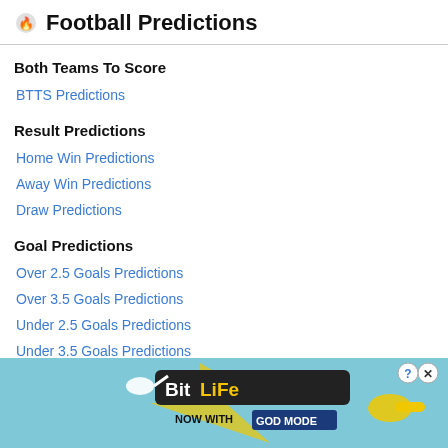Football Predictions
Both Teams To Score
BTTS Predictions
Result Predictions
Home Win Predictions
Away Win Predictions
Draw Predictions
Goal Predictions
Over 2.5 Goals Predictions
Over 3.5 Goals Predictions
Under 2.5 Goals Predictions
Under 3.5 Goals Predictions
[Figure (other): BitLife advertisement banner: NOW WITH GOD MODE]